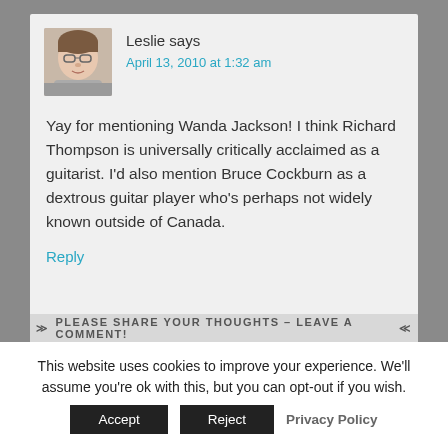[Figure (photo): Avatar photo of Leslie — a woman with glasses and light brown hair]
Leslie says
April 13, 2010 at 1:32 am
Yay for mentioning Wanda Jackson! I think Richard Thompson is universally critically acclaimed as a guitarist. I'd also mention Bruce Cockburn as a dextrous guitar player who's perhaps not widely known outside of Canada.
Reply
PLEASE SHARE YOUR THOUGHTS – LEAVE A COMMENT!
This website uses cookies to improve your experience. We'll assume you're ok with this, but you can opt-out if you wish.